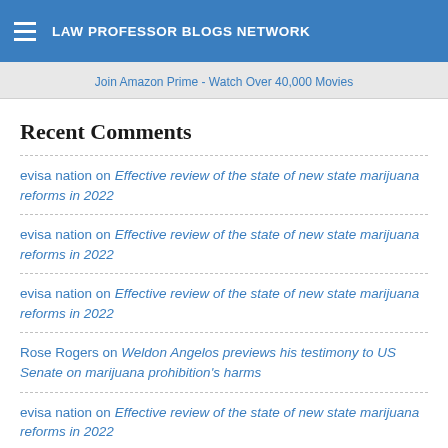LAW PROFESSOR BLOGS NETWORK
Join Amazon Prime - Watch Over 40,000 Movies
Recent Comments
evisa nation on Effective review of the state of new state marijuana reforms in 2022
evisa nation on Effective review of the state of new state marijuana reforms in 2022
evisa nation on Effective review of the state of new state marijuana reforms in 2022
Rose Rogers on Weldon Angelos previews his testimony to US Senate on marijuana prohibition's harms
evisa nation on Effective review of the state of new state marijuana reforms in 2022